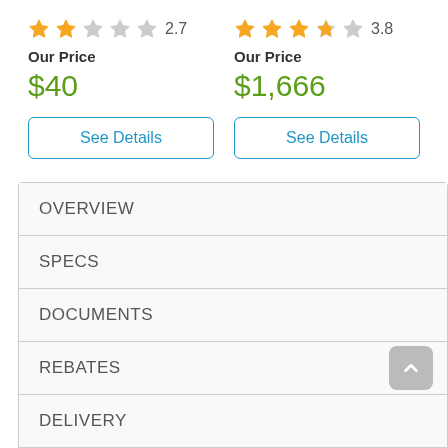[Figure (other): Star rating: 2 full stars, 1 half star, 2 empty stars, rating 2.7]
Our Price
$40
See Details
[Figure (other): Star rating: 3 full stars, 1 half star, 1 empty star, rating 3.8]
Our Price
$1,666
See Details
OVERVIEW
SPECS
DOCUMENTS
REBATES
DELIVERY